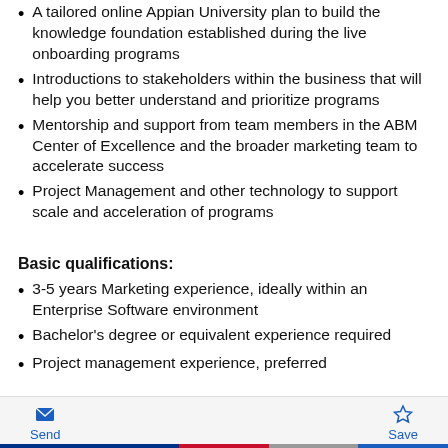A tailored online Appian University plan to build the knowledge foundation established during the live onboarding programs
Introductions to stakeholders within the business that will help you better understand and prioritize programs
Mentorship and support from team members in the ABM Center of Excellence and the broader marketing team to accelerate success
Project Management and other technology to support scale and acceleration of programs
Basic qualifications:
3-5 years Marketing experience, ideally within an Enterprise Software environment
Bachelor's degree or equivalent experience required
Project management experience, preferred
Send  Save